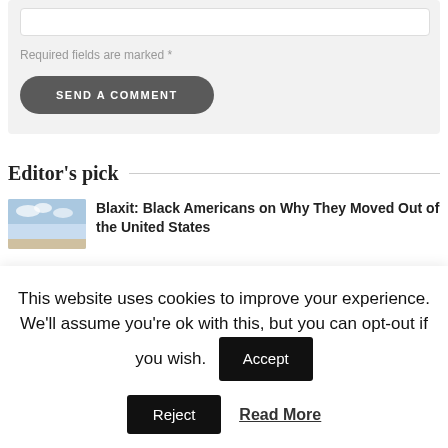Required fields are marked *
SEND A COMMENT
Editor's pick
Blaxit: Black Americans on Why They Moved Out of the United States
This website uses cookies to improve your experience. We'll assume you're ok with this, but you can opt-out if you wish.
Accept
Reject
Read More